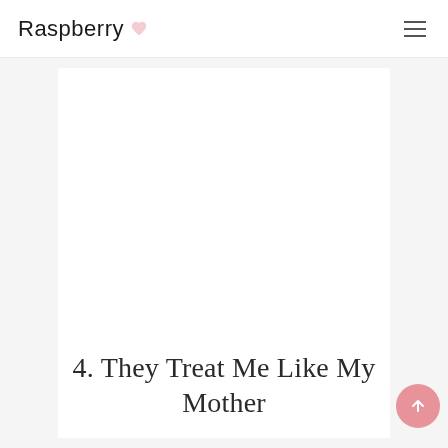Raspberry
[Figure (illustration): White content card / blank image area placeholder in the center of the page]
4. They Treat Me Like My Mother